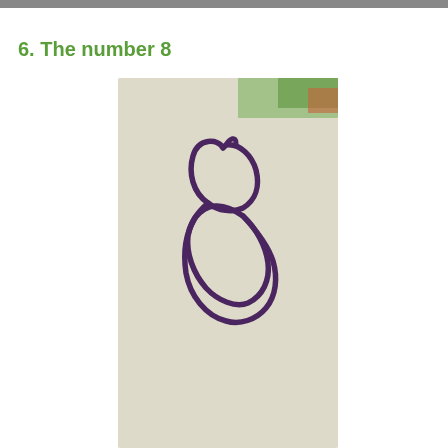6. The number 8
[Figure (photo): A photograph of a handwritten number 8 drawn in purple ink on a white piece of paper, with a small glimpse of a colorful background visible at the top right corner of the photo.]